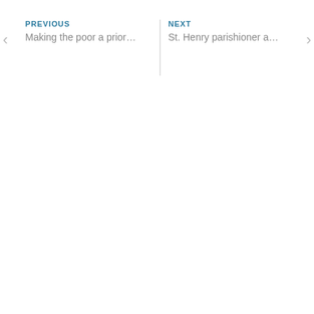PREVIOUS
Making the poor a prior...
NEXT
St. Henry parishioner a...